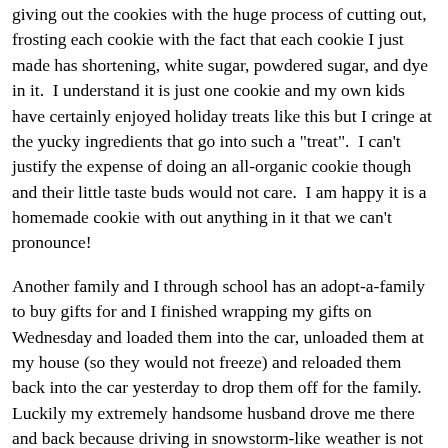giving out the cookies with the huge process of cutting out, frosting each cookie with the fact that each cookie I just made has shortening, white sugar, powdered sugar, and dye in it.  I understand it is just one cookie and my own kids have certainly enjoyed holiday treats like this but I cringe at the yucky ingredients that go into such a "treat".  I can't justify the expense of doing an all-organic cookie though and their little taste buds would not care.  I am happy it is a homemade cookie with out anything in it that we can't pronounce!
Another family and I through school has an adopt-a-family to buy gifts for and I finished wrapping my gifts on Wednesday and loaded them into the car, unloaded them at my house (so they would not freeze) and reloaded them back into the car yesterday to drop them off for the family. Luckily my extremely handsome husband drove me there and back because driving in snowstorm-like weather is not on my favorite to-do list.  My hope is always to get the gifts to the family while the children are still at school-it takes a little of the magic away if you watch a young man unload the gifts from the back of an SUV-but since it was a snow day everyone was home and happy to see the gift boxes come